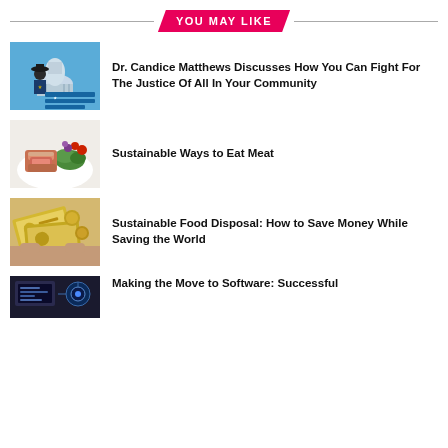YOU MAY LIKE
[Figure (photo): Book cover or promotional image for 'The Hammer of Accountability' featuring a person in a cowboy hat in front of the US Capitol building]
Dr. Candice Matthews Discusses How You Can Fight For The Justice Of All In Your Community
[Figure (photo): Photo of cooked meat (steak/tuna) with green salad and vegetables on a white plate]
Sustainable Ways to Eat Meat
[Figure (photo): Photo of hands holding banknotes/paper currency]
Sustainable Food Disposal: How to Save Money While Saving the World
[Figure (photo): Dark tech/software themed image]
Making the Move to Software: Successful